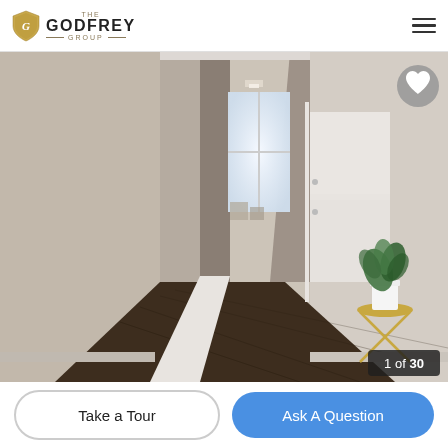[Figure (logo): The Godfrey Group logo with gold shield and text]
[Figure (photo): Interior hallway of a luxury condo with white walls, dark hardwood floors, leading to a bright window at the end. A small gold side table with a white pot plant stands on the right. Counter shows 1 of 30.]
Take a Tour
Ask A Question